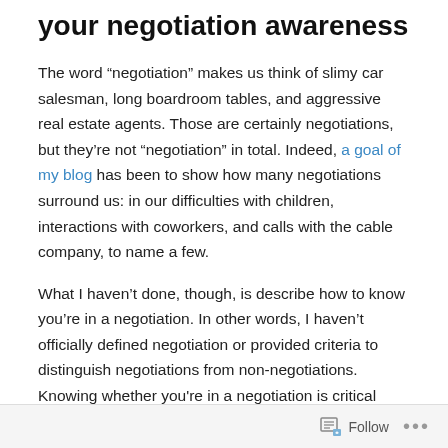your negotiation awareness
The word “negotiation” makes us think of slimy car salesman, long boardroom tables, and aggressive real estate agents. Those are certainly negotiations, but they’re not “negotiation” in total. Indeed, a goal of my blog has been to show how many negotiations surround us: in our difficulties with children, interactions with coworkers, and calls with the cable company, to name a few.
What I haven’t done, though, is describe how to know you’re in a negotiation. In other words, I haven’t officially defined negotiation or provided criteria to distinguish negotiations from non-negotiations. Knowing whether you're in a negotiation is critical because it provides clues about how to achieve your goals. If you’re in a negotiation...
Follow